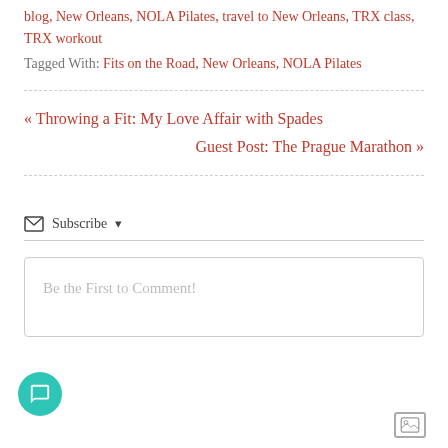blog, New Orleans, NOLA Pilates, travel to New Orleans, TRX class, TRX workout
Tagged With: Fits on the Road, New Orleans, NOLA Pilates
« Throwing a Fit: My Love Affair with Spades
Guest Post: The Prague Marathon »
Subscribe ▾
Be the First to Comment!